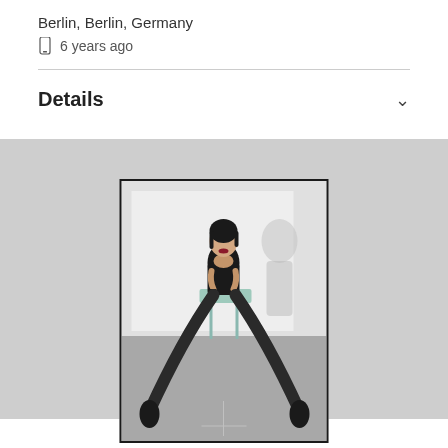Berlin, Berlin, Germany
6 years ago
Details
[Figure (photo): Fashion photo of a woman with dark hair in a black outfit seated on a light blue chair with legs extended outward on a gray floor, against a white backdrop with a shadow figure. Studio photography setting.]